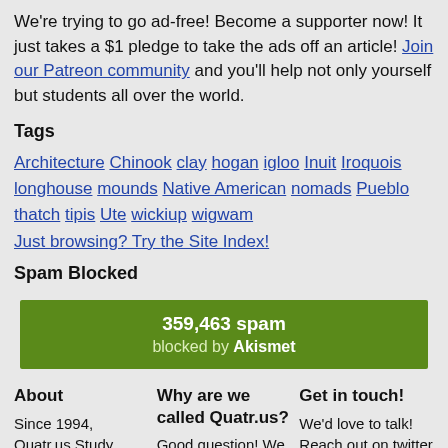We're trying to go ad-free! Become a supporter now! It just takes a $1 pledge to take the ads off an article! Join our Patreon community and you'll help not only yourself but students all over the world.
Tags
Architecture Chinook clay hogan igloo Inuit Iroquois longhouse mounds Native American nomads Pueblo thatch tipis Ute wickiup wigwam
Just browsing? Try the Site Index!
Spam Blocked
[Figure (infographic): Green badge showing 359,463 spam blocked by Akismet]
About
Why are we called Quatr.us?
Get in touch!
Since 1994, Quatr.us Study Guides has offered free history and science articles
Good question! We were thinking of the four corners of the
We'd love to talk! Reach out on twitter (@Quatr_us) or Instagram